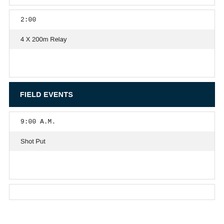2:00
4 X 200m Relay
FIELD EVENTS
9:00 A.M.
Shot Put